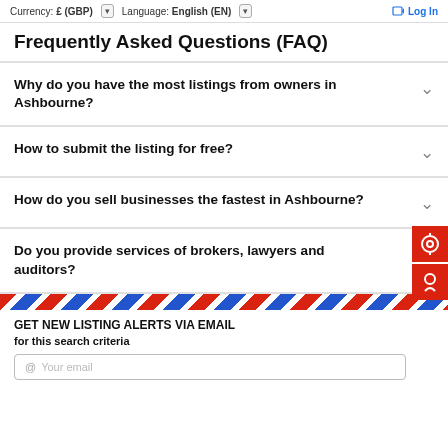Currency: £ (GBP) Language: English (EN) Log In
Frequently Asked Questions (FAQ)
Why do you have the most listings from owners in Ashbourne?
How to submit the listing for free?
How do you sell businesses the fastest in Ashbourne?
Do you provide services of brokers, lawyers and auditors?
GET NEW LISTING ALERTS VIA EMAIL
for this search criteria
Your email